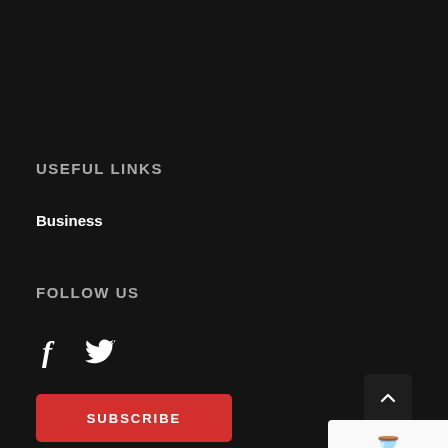USEFUL LINKS
Business
FOLLOW US
[Figure (infographic): Social media icons: Facebook (f) and Twitter (bird) in white on dark background]
SUBSCRIBE
[Figure (other): Scroll-to-top button with upward caret arrow, dark square rounded button]
[Figure (other): reCAPTCHA logo box with Privacy and Terms text]